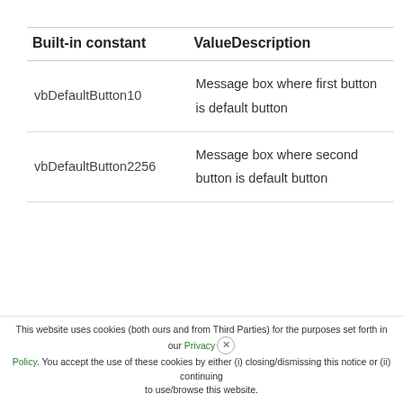| Built-in constant | ValueDescription |
| --- | --- |
| vbDefaultButton10 | Message box where first button is default button |
| vbDefaultButton2256 | Message box where second button is default button |
This website uses cookies (both ours and from Third Parties) for the purposes set forth in our Privacy Policy. You accept the use of these cookies by either (i) closing/dismissing this notice or (ii) continuing to use/browse this website.